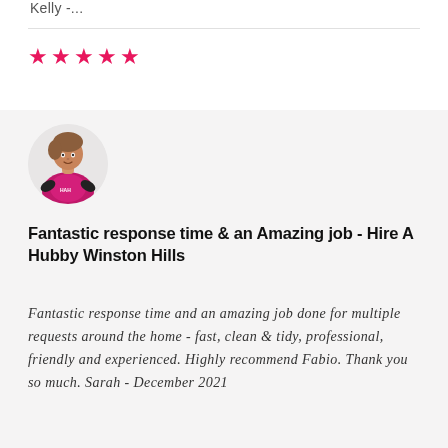Kelly -...
[Figure (illustration): Five pink/magenta filled star icons indicating a 5-star rating]
[Figure (illustration): Circular avatar of a person wearing a magenta/pink uniform, illustrated style]
Fantastic response time & an Amazing job - Hire A Hubby Winston Hills
Fantastic response time and an amazing job done for multiple requests around the home - fast, clean & tidy, professional, friendly and experienced. Highly recommend Fabio. Thank you so much. Sarah - December 2021